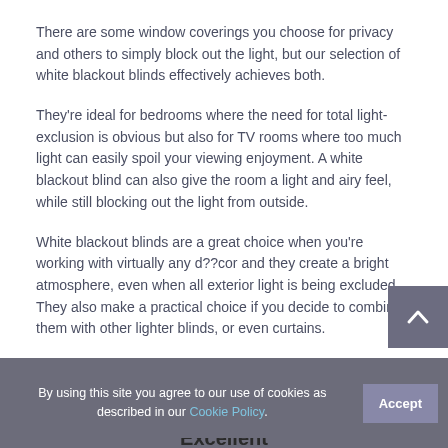There are some window coverings you choose for privacy and others to simply block out the light, but our selection of white blackout blinds effectively achieves both.
They're ideal for bedrooms where the need for total light-exclusion is obvious but also for TV rooms where too much light can easily spoil your viewing enjoyment. A white blackout blind can also give the room a light and airy feel, while still blocking out the light from outside.
White blackout blinds are a great choice when you're working with virtually any d??cor and they create a bright atmosphere, even when all exterior light is being excluded. They also make a practical choice if you decide to combine them with other lighter blinds, or even curtains.
You also have the choice of roller, vertical, panel and even skylight blackout blinds in white as well as subtly patterned and plain varieties too.
By using this site you agree to our use of cookies as described in our Cookie Policy.
Excellent